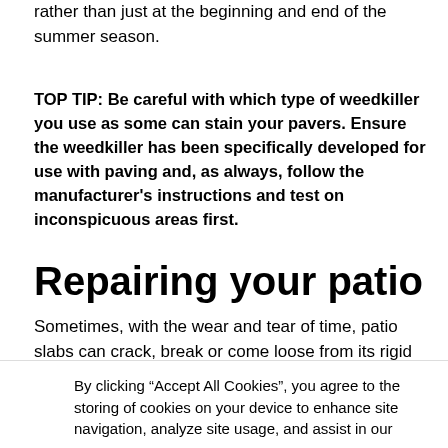rather than just at the beginning and end of the summer season.
TOP TIP: Be careful with which type of weedkiller you use as some can stain your pavers. Ensure the weedkiller has been specifically developed for use with paving and, as always, follow the manufacturer's instructions and test on inconspicuous areas first.
Repairing your patio
Sometimes, with the wear and tear of time, patio slabs can crack, break or come loose from its rigid formation. But you don't need the expensive services of a professional to restore your paving to its former glory – just take a look at
By clicking “Accept All Cookies”, you agree to the storing of cookies on your device to enhance site navigation, analyze site usage, and assist in our